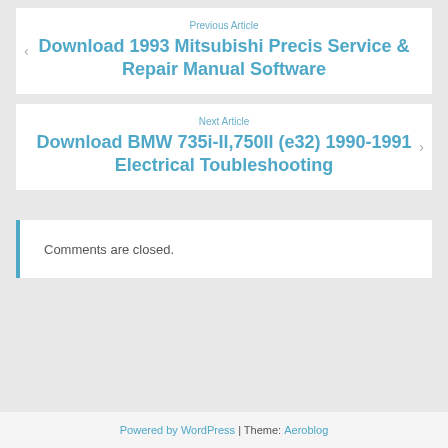Previous Article
Download 1993 Mitsubishi Precis Service & Repair Manual Software
Next Article
Download BMW 735i-Il,750Il (e32) 1990-1991 Electrical Toubleshooting
Comments are closed.
Powered by WordPress | Theme: Aeroblog